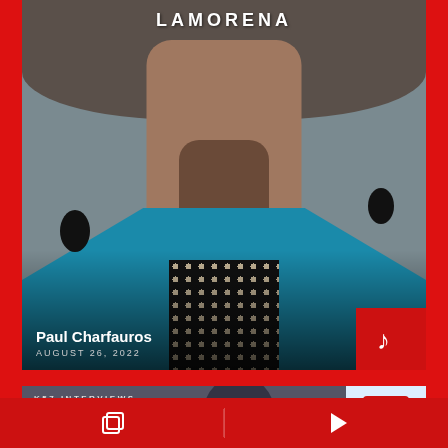[Figure (screenshot): Screenshot of a media app showing a video card. A woman in a teal/blue jacket with floral earrings and dark patterned blouse. Text overlay at top reads 'LAMORENA'. Bottom of card shows 'Paul Charfauros' and 'AUGUST 26, 2022' with a music note icon button on the red background bottom-right corner. A red background surrounds the card. A second partial card is visible below labeled 'K57 INTERVIEWS'. Bottom navigation bar with copy/layers icon on left and play icon on right on red background.]
LAMORENA
Paul Charfauros
AUGUST 26, 2022
K57 INTERVIEWS